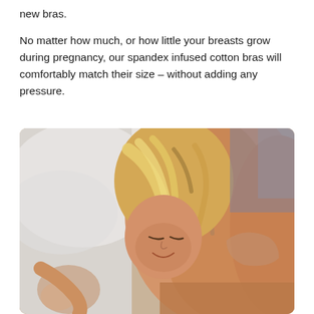new bras.

No matter how much, or how little your breasts grow during pregnancy, our spandex infused cotton bras will comfortably match their size – without adding any pressure.
[Figure (photo): A smiling blonde woman wearing a nude/beige bra, leaning forward against white bedding, looking downward.]